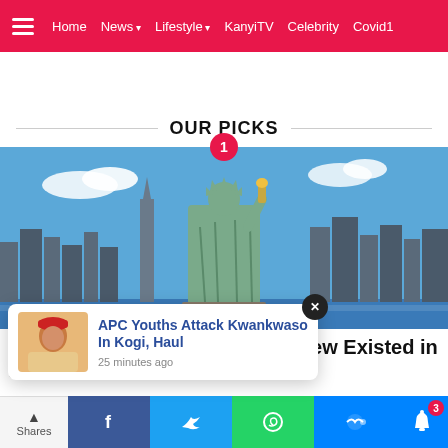Home  News  Lifestyle  KanyiTV  Celebrity  Covid19
OUR PICKS
[Figure (photo): Statue of Liberty with New York City skyline and blue sky in the background. A circular pink badge with number 1 is shown at the top center.]
7 Amazing Places You Never Knew Existed in the US
[Figure (screenshot): Notification popup card showing a person wearing a red cap, with headline 'APC Youths Attack Kwankwaso In Kogi, Haul' and '25 minutes ago'. A black X close button is at top right.]